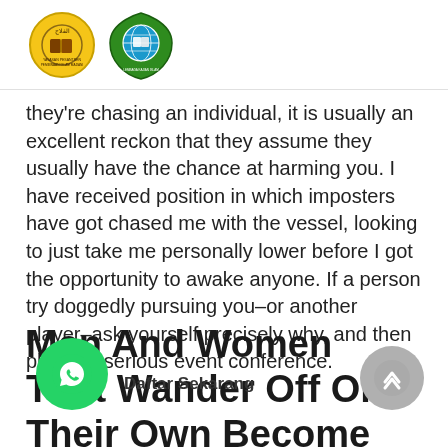[Logo 1: Yayasan Pesantren Islam Madani] [Logo 2: Lembaga Kajian Islam Berbasis Sains dan Teknologi]
they're chasing an individual, it is usually an excellent reckon that they assume they usually have the chance at harming you. I have received position in which imposters have got chased me with the vessel, looking to just take me personally lower before I got the opportunity to awake anyone. If a person try doggedly pursuing you–or another player–ask yourself precisely why, and then phone a serious event conference.
Men And Women That Wander Off On Their Own Become Suspect
Daftar Sekarang